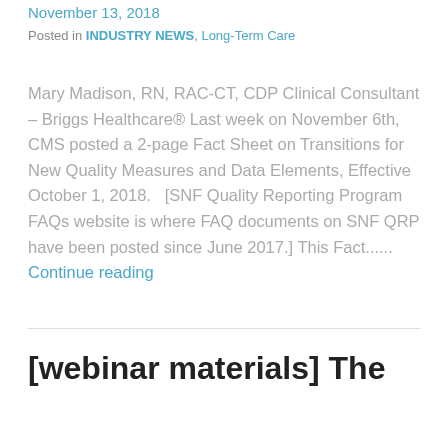November 13, 2018
Posted in INDUSTRY NEWS, Long-Term Care
Mary Madison, RN, RAC-CT, CDP Clinical Consultant – Briggs Healthcare® Last week on November 6th, CMS posted a 2-page Fact Sheet on Transitions for New Quality Measures and Data Elements, Effective October 1, 2018.   [SNF Quality Reporting Program FAQs website is where FAQ documents on SNF QRP have been posted since June 2017.] This Fact...... Continue reading
[webinar materials] The